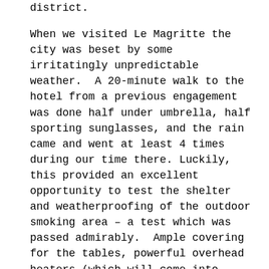district.
When we visited Le Magritte the city was beset by some irritatingly unpredictable weather. A 20-minute walk to the hotel from a previous engagement was done half under umbrella, half sporting sunglasses, and the rain came and went at least 4 times during our time there. Luckily, this provided an excellent opportunity to test the shelter and weatherproofing of the outdoor smoking area – a test which was passed admirably. Ample covering for the tables, powerful overhead heaters (which will come into their own when winter rolls back around) and a high hedge on the side of the street meant that, despite the intermittent squall, our smoke took place in perfect comfort.